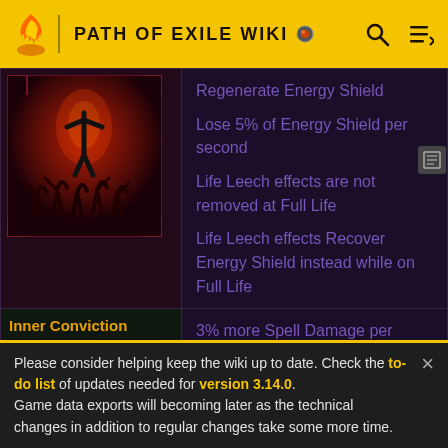PATH OF EXILE WIKI
[Figure (illustration): Path of Exile Wiki logo flame icon in orange/red]
[Figure (illustration): Dark red fantasy artwork showing silhouetted figures with raised arms beneath a central glowing figure]
Regenerate Energy Shield
Lose 5% of Energy Shield per second
Life Leech effects are not removed at Full Life
Life Leech effects Recover Energy Shield instead while on Full Life
Inner Conviction
[Figure (illustration): Green fantasy passive skill node image showing a star-like symbol with a blue orb]
3% more Spell Damage per Power Charge
Please consider helping keep the wiki up to date. Check the to-do list of updates needed for version 3.14.0.
Game data exports will becoming later as the technical changes in addition to regular changes take some more time.